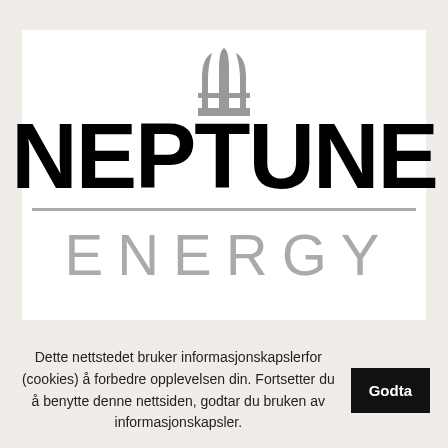[Figure (logo): Neptune Energy logo: trident symbol above the word NEPTUNE in large bold black text, a horizontal grey divider line, and the word ENERGY in large grey spaced letters below. White background.]
Dette nettstedet bruker informasjonskapslerfor (cookies) å forbedre opplevelsen din. Fortsetter du å benytte denne nettsiden, godtar du bruken av informasjonskapsler.